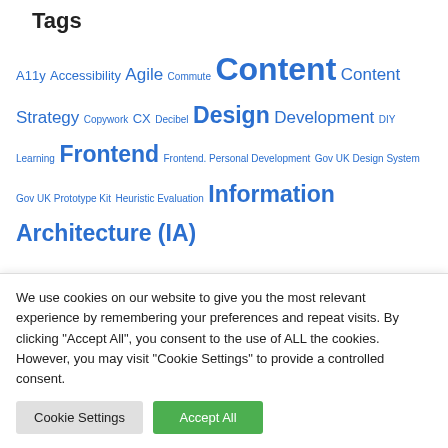Tags
A11y Accessibility Agile Commute Content Content Strategy Copywork CX Decibel Design Development DIY Learning Frontend Frontend. Personal Development Gov UK Design System Gov UK Prototype Kit Heuristic Evaluation Information Architecture (IA) Interaction Design Lean UX Mental Health Monthly Testing Motivation MVP New Job Personal Development Practices
We use cookies on our website to give you the most relevant experience by remembering your preferences and repeat visits. By clicking "Accept All", you consent to the use of ALL the cookies. However, you may visit "Cookie Settings" to provide a controlled consent.
Cookie Settings | Accept All